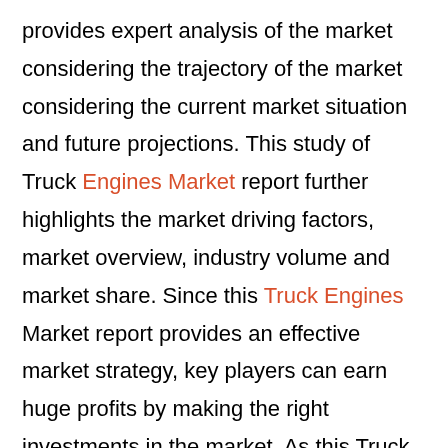provides expert analysis of the market considering the trajectory of the market considering the current market situation and future projections. This study of Truck Engines Market report further highlights the market driving factors, market overview, industry volume and market share. Since this Truck Engines Market report provides an effective market strategy, key players can earn huge profits by making the right investments in the market. As this Truck Engines market report depicts the ever-changing needs of consumers, sellers, and buyers across different regions, it becomes easy to target specific products and attain major revenue in the global market.